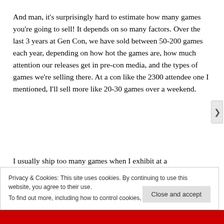And man, it's surprisingly hard to estimate how many games you're going to sell! It depends on so many factors. Over the last 3 years at Gen Con, we have sold between 50-200 games each year, depending on how hot the games are, how much attention our releases get in pre-con media, and the types of games we're selling there. At a con like the 2300 attendee one I mentioned, I'll sell more like 20-30 games over a weekend.
I usually ship too many games when I exhibit at a
Privacy & Cookies: This site uses cookies. By continuing to use this website, you agree to their use.
To find out more, including how to control cookies, see here: Cookie Policy